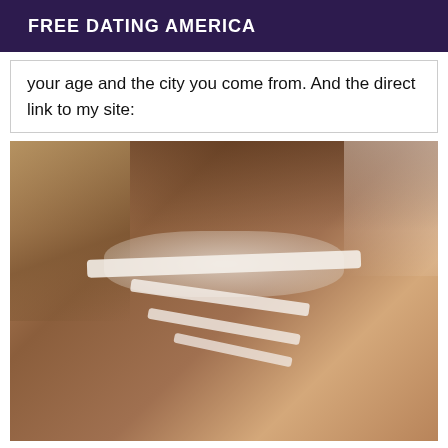FREE DATING AMERICA
your age and the city you come from. And the direct link to my site:
[Figure (photo): Close-up photo of a person wearing a white lace bralette/lingerie top, showing torso area.]